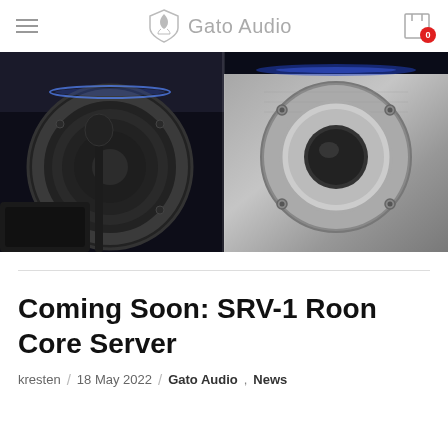Gato Audio
[Figure (photo): Two close-up photos of audio speakers side by side: left shows a dark woofer/subwoofer cone with blue LED accent lighting in a black cabinet; right shows a metallic silver tweeter/driver with a black dome center and silver mounting hardware with blue accent lighting]
Coming Soon: SRV-1 Roon Core Server
kresten / 18 May 2022 / Gato Audio , News